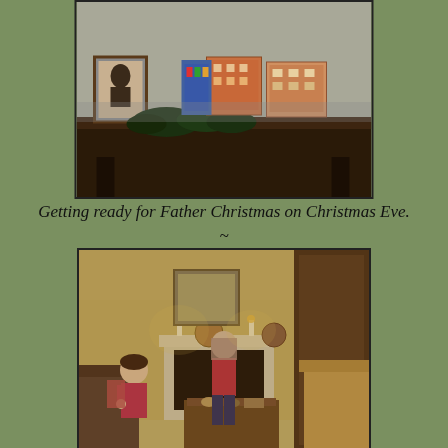[Figure (photo): A dark wooden sideboard/console table with decorative items including a framed portrait on the left, greenery/ivy, and colorful decorative house/building figurines in the center-back. The scene is dimly lit.]
Getting ready for Father Christmas on Christmas Eve.
~
[Figure (photo): A dimly lit living room scene with two young girls near a fireplace decorated with candles and decorative items. One girl sits on the left and the other stands in the middle wearing a red top. There is a coffee table with items on it, armchairs, and framed artwork on the walls.]